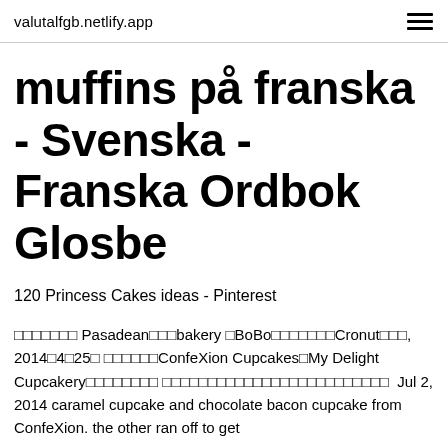valutalfgb.netlify.app
muffins på franska - Svenska - Franska Ordbok Glosbe
120 Princess Cakes ideas - Pinterest
□□□□□□□ Pasadean□□□bakery □BoBo□□□□□□□Cronut□□□, 2014□4□25□ □□□□□□ConfeXion Cupcakes□My Delight Cupcakery□□□□□□□□□ □□□□□□□□□□□□□□□□□□□□□□□□□  Jul 2, 2014 caramel cupcake and chocolate bacon cupcake from ConfeXion. the other ran off to get